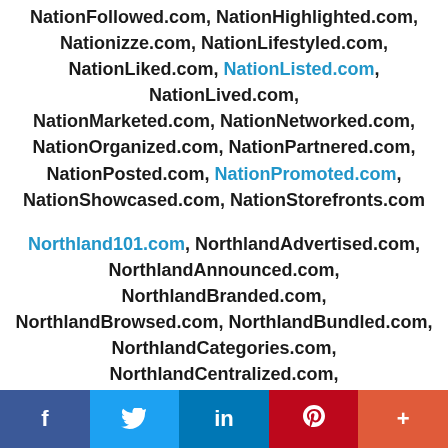NationFollowed.com, NationHighlighted.com, Nationizze.com, NationLifestyled.com, NationLiked.com, NationListed.com, NationLived.com, NationMarketed.com, NationNetworked.com, NationOrganized.com, NationPartnered.com, NationPosted.com, NationPromoted.com, NationShowcased.com, NationStorefronts.com
Northland101.com, NorthlandAdvertised.com, NorthlandAnnounced.com, NorthlandBranded.com, NorthlandBrowsed.com, NorthlandBundled.com, NorthlandCategories.com, NorthlandCentralized.com, NorthlandDigitalized.com, NorthlandDiscovered.com, NorthlandDisplayed.com, NorthlandFeatured.com, NorthlandExplored.com, NorthlandFollowed.com, NorthlandHighlighted.com, NorthlandHQ.com, NorthlandLifestyled.com
f  [Twitter bird]  in  P  +